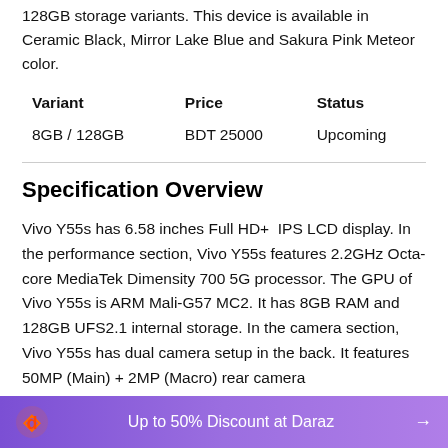128GB storage variants. This device is available in Ceramic Black, Mirror Lake Blue and Sakura Pink Meteor color.
| Variant | Price | Status |
| --- | --- | --- |
| 8GB / 128GB | BDT 25000 | Upcoming |
Specification Overview
Vivo Y55s has 6.58 inches Full HD+ IPS LCD display. In the performance section, Vivo Y55s features 2.2GHz Octa-core MediaTek Dimensity 700 5G processor. The GPU of Vivo Y55s is ARM Mali-G57 MC2. It has 8GB RAM and 128GB UFS2.1 internal storage. In the camera section, Vivo Y55s has dual camera setup in the back. It features 50MP (Main) + 2MP (Macro) rear camera
Up to 50% Discount at Daraz